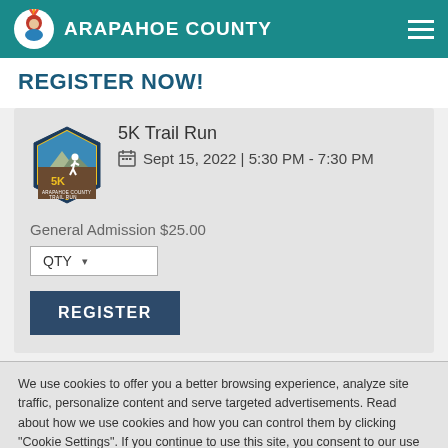ARAPAHOE COUNTY
REGISTER NOW!
5K Trail Run
Sept 15, 2022 | 5:30 PM - 7:30 PM
General Admission $25.00
QTY
REGISTER
We use cookies to offer you a better browsing experience, analyze site traffic, personalize content and serve targeted advertisements. Read about how we use cookies and how you can control them by clicking "Cookie Settings". If you continue to use this site, you consent to our use of cookies.
Cookie Settings
Accept Cookies